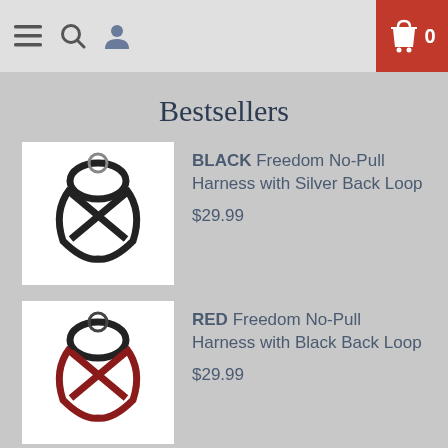Navigation bar with menu, search, profile icons and cart with 0 items
Bestsellers
[Figure (photo): Black dog harness with silver back loop on white background]
BLACK Freedom No-Pull Harness with Silver Back Loop
$29.99
[Figure (photo): Red dog harness with black back loop on white background]
RED Freedom No-Pull Harness with Black Back Loop
$29.99
[Figure (photo): Royal blue dog harness with navy loop on white background]
ROYAL BLUE Freedom No-Pull Harness w/ Navy Loop
$29.99
RASPBERRY Freedom No-Pull H...